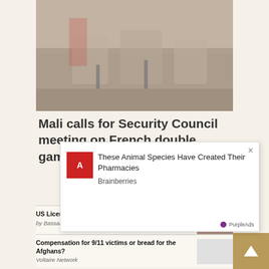[Figure (photo): Photo of military personnel seated at a table with microphones]
Mali calls for Security Council meeting on French double game
US License in Syria Violates Syrian Sovereignty — by Bassam Sabbagh, Voltaire Network
Compensation for 9/11 victims or bread for the Afghans? — Voltaire Network
Khanists support expulsion of Israeli pro-Arabs and Arabs — Voltaire Network
Declaration of the Baltic States on the safety of the Zaporizhia nuclear power plant — Voltaire Network
Dec[laration...] — Volta[ire Network]
Volt[aire Network] — Voltaire Network
[Figure (infographic): Ad overlay: These Animal Species Have Created Their Pharmacies — Brainberries, PurpleAds]
[Figure (other): Scroll-to-top button]